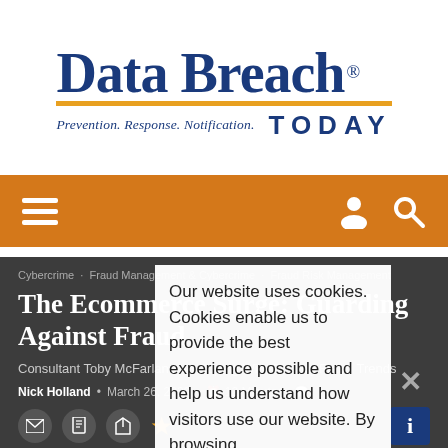[Figure (logo): Data Breach Today logo with tagline 'Prevention. Response. Notification.']
Navigation bar with hamburger menu, user icon, and search icon
Cybercrime · Fraud Management & Cybercrime · Fraud Risk Management
The Ecommerce Surge: Guarding Against Fraud
Consultant Toby McFarlane on Coping With Shifting Fraud Trends
Nick Holland • March 26, 2020 • 12 Minutes
Our website uses cookies. Cookies enable us to provide the best experience possible and help us understand how visitors use our website. By browsing databreachtoday.com, you agree to our use of cookies.